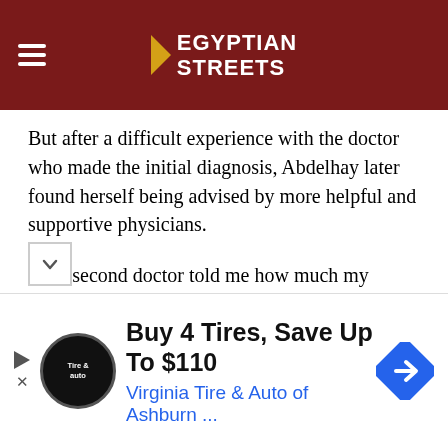Egyptian Streets
But after a difficult experience with the doctor who made the initial diagnosis, Abdelhay later found herself being advised by more helpful and supportive physicians.
“The second doctor told me how much my mental and emotional state affected the situation,” Abdelhay explained. “The severity of how I experience this disease is affected by my mental well-being.”
So living her life normally and finding ways to enjoy herself was among the doctor’s prescription to Abdelhay’s road to well-being. That, along with trying
Buy 4 Tires, Save Up To $110
Virginia Tire & Auto of Ashburn …